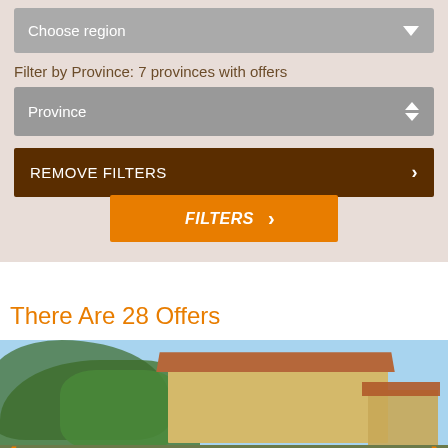[Figure (screenshot): Mobile app UI showing region chooser dropdown with grey background and white arrow]
Filter by Province: 7 provinces with offers
[Figure (screenshot): Province dropdown selector with up/down arrows]
REMOVE FILTERS
FILTERS
There Are 28 Offers
[Figure (photo): Photo of a property/villa with green trees on left and a yellow building with terracotta roof on right under blue sky]